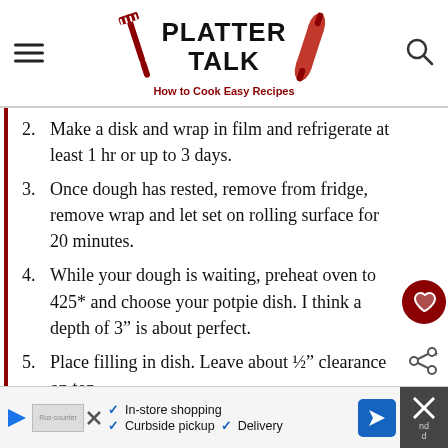PLATTER TALK — How to Cook Easy Recipes
2. Make a disk and wrap in film and refrigerate at least 1 hr or up to 3 days.
3. Once dough has rested, remove from fridge, remove wrap and let set on rolling surface for 20 minutes.
4. While your dough is waiting, preheat oven to 425* and choose your potpie dish. I think a depth of 3" is about perfect.
5. Place filling in dish. Leave about ½" clearance on top.
6. Lightly flour rolling pin & rolling surface. slowly and gently begin to roll disk. Have a little patience, please. Mix and first starting…
[Figure (infographic): Ad banner: In-store shopping, Curbside pickup, Delivery options with navigation arrow icon and close button]